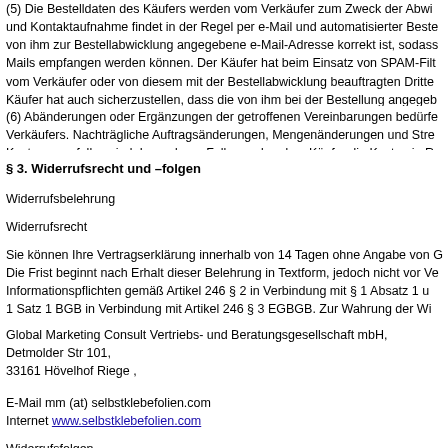(5) Die Bestelldaten des Käufers werden vom Verkäufer zum Zweck der Abw... und Kontaktaufnahme findet in der Regel per e-Mail und automatisierter Beste... von ihm zur Bestellabwicklung angegebene e-Mail-Adresse korrekt ist, sodass... Mails empfangen werden können. Der Käufer hat beim Einsatz von SPAM-Filt... vom Verkäufer oder von diesem mit der Bestellabwicklung beauftragten Dritte... Käufer hat auch sicherzustellen, dass die von ihm bei der Bestellung angegeb... korrekt ist. Unzustellbarkeit wegen fehlerhafter oder unvollständiger Adressda... ebenso zu Lasten des Käufers wie unbegründete Empfangsverweigerung dur... Bevollmächtigte/r.
(6) Abänderungen oder Ergänzungen der getroffenen Vereinbarungen bedürfe... Verkäufers. Nachträgliche Auftragsänderungen, Mengenänderungen und Stre... Kosten angefallen sind. Im anderen Falle werden dem Käufer die Kosten in Re...
§ 3. Widerrufsrecht und –folgen
Widerrufsbelehrung
Widerrufsrecht
Sie können Ihre Vertragserklärung innerhalb von 14 Tagen ohne Angabe von G... Die Frist beginnt nach Erhalt dieser Belehrung in Textform, jedoch nicht vor Ve... Informationspflichten gemäß Artikel 246 § 2 in Verbindung mit § 1 Absatz 1 un... 1 Satz 1 BGB in Verbindung mit Artikel 246 § 3 EGBGB. Zur Wahrung der Wi... Widerrufs. Der Widerruf ist zu richten an:
Global Marketing Consult Vertriebs- und Beratungsgesellschaft mbH, Detmolder Str 101, 33161 Hövelhof Riege , Fax 052579-348997,
E-Mail mm (at) selbstklebefolien.com
Internet www.selbstklebefolien.com
Widerrufsfolgen